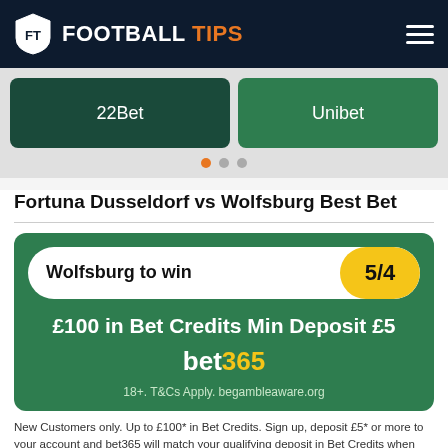FOOTBALL TIPS
[Figure (screenshot): Two bookie cards: 22Bet (dark green) and Unibet (medium green)]
Dots navigation indicator, first dot active (orange)
Fortuna Dusseldorf vs Wolfsburg Best Bet
[Figure (infographic): Bet card with green background: Wolfsburg to win at odds 5/4, £100 in Bet Credits Min Deposit £5, bet365 logo, 18+. T&Cs Apply. begambleaware.org]
New Customers only. Up to £100* in Bet Credits. Sign up, deposit £5* or more to your account and bet365 will match your qualifying deposit in Bet Credits when you place qualifying bets to the same value and they are settled. Min odds/bet and payment